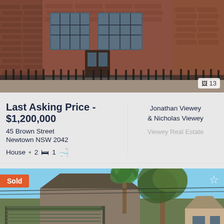[Figure (photo): Front exterior of a red brick terrace house with iron fence and security bars on windows]
Last Asking Price - $1,200,000
45 Brown Street
Newtown NSW 2042
House • 2 🛏 1 🛁
Jonathan Viewey & Nicholas Viewey
Viewey Real Estate
[Figure (photo): Front exterior of a house with carport/pergola structure, palm tree and large gum tree in background, suburban street setting. Sold badge overlaid.]